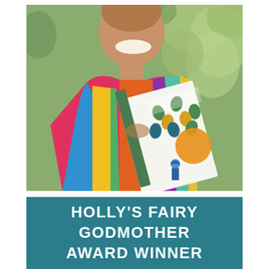[Figure (photo): A smiling woman holding a book titled 'Small Changes, Big Change' with a decorative cover featuring leaf patterns and an orange circle. She is wearing a colorful striped sleeveless top. Green foliage is visible in the background.]
HOLLY'S FAIRY GODMOTHER AWARD WINNER